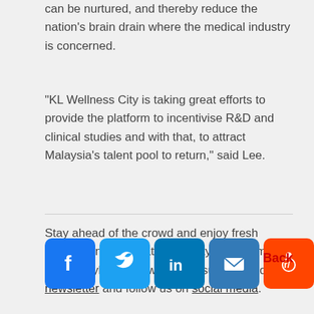can be nurtured, and thereby reduce the nation's brain drain where the medical industry is concerned.
“KL Wellness City is taking great efforts to provide the platform to incentivise R&D and clinical studies and with that, to attract Malaysia's talent pool to return,” said Lee.
Stay ahead of the crowd and enjoy fresh insights on real estate, property development, and lifestyle trends when you subscribe to our newsletter and follow us on social media.
[Figure (infographic): Row of social media share buttons: Facebook (blue), Twitter (blue), LinkedIn (blue), Email (blue), Reddit (orange-red), WhatsApp (green), Line (green), WeChat (light green)]
Back